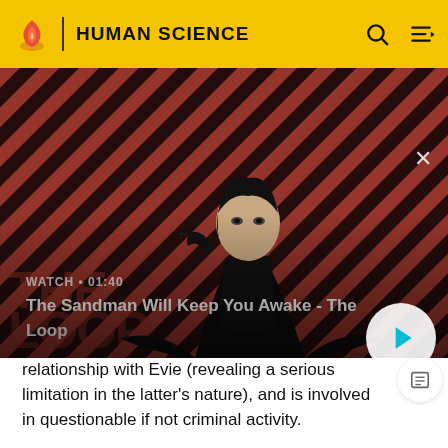HUMAN SCIENCE
[Figure (screenshot): Video thumbnail for 'The Sandman Will Keep You Awake - The Loop' showing a dark-cloaked figure with a raven on their shoulder against a red and dark diagonal striped background. Text overlay reads WATCH • 01:40. Title: The Sandman Will Keep You Awake - The Loop. Play button visible at bottom right.]
relationship with Evie (revealing a serious limitation in the latter's nature), and is involved in questionable if not criminal activity.
She thus serves to elevate them, not only through the success she engenders, but to reveal the reluctance and